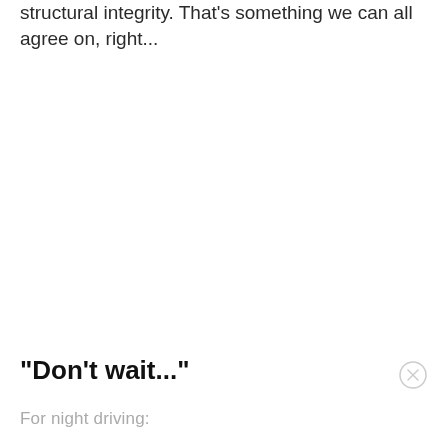structural integrity. That's something we can all agree on, right...
"Don't wait..."
For night driving: